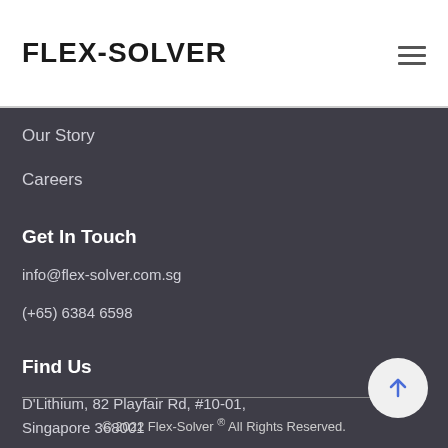Flex-Solver
Our Story
Careers
Get In Touch
info@flex-solver.com.sg
(+65) 6384 6598
Find Us
D'Lithium, 82 Playfair Rd, #10-01, Singapore 368001
© 2022 Flex-Solver ® All Rights Reserved.